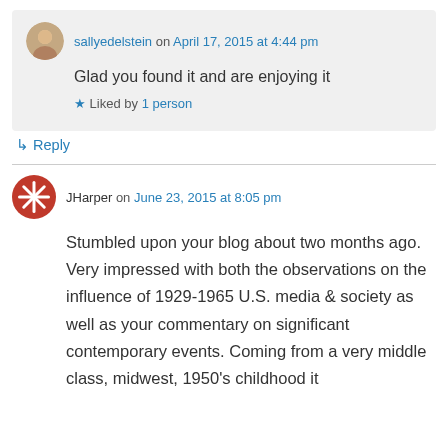sallyedelstein on April 17, 2015 at 4:44 pm
Glad you found it and are enjoying it
Liked by 1 person
Reply
JHarper on June 23, 2015 at 8:05 pm
Stumbled upon your blog about two months ago. Very impressed with both the observations on the influence of 1929-1965 U.S. media & society as well as your commentary on significant contemporary events. Coming from a very middle class, midwest, 1950's childhood it